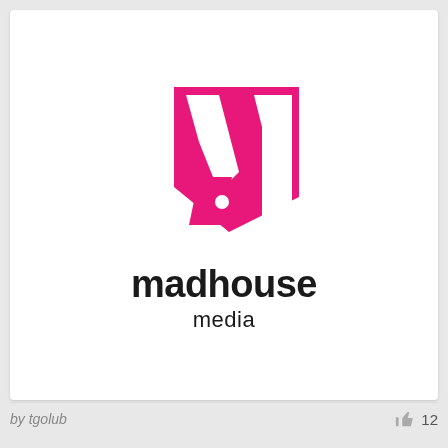[Figure (logo): Madhouse Media logo: pink/magenta square shape with white cutout forming an abstract 'M' letter with a small white circle dot; below the icon the bold text 'madhouse' and lighter 'media']
by tgolub
12